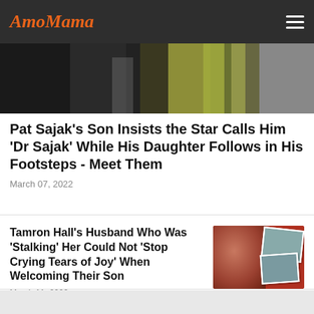AmoMama
[Figure (photo): Hero image strip showing people at an event, partially cropped]
Pat Sajak's Son Insists the Star Calls Him 'Dr Sajak' While His Daughter Follows in His Footsteps - Meet Them
March 07, 2022
Tamron Hall's Husband Who Was 'Stalking' Her Could Not 'Stop Crying Tears of Joy' When Welcoming Their Son
March 11, 2022
[Figure (photo): Thumbnail image of Tamron Hall in red with polaroid-style family photos in the background]